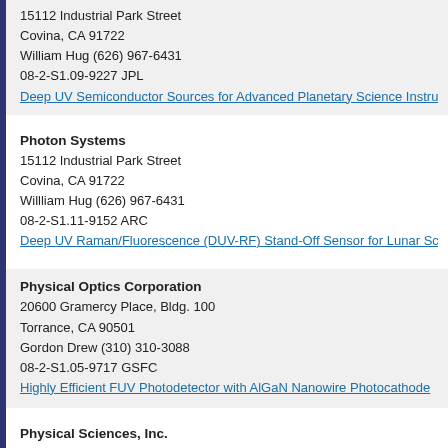15112 Industrial Park Street
Covina, CA 91722
William Hug (626) 967-6431
08-2-S1.09-9227 JPL
Deep UV Semiconductor Sources for Advanced Planetary Science Instrum…
Photon Systems
15112 Industrial Park Street
Covina, CA 91722
Willliam Hug (626) 967-6431
08-2-S1.11-9152 ARC
Deep UV Raman/Fluorescence (DUV-RF) Stand-Off Sensor for Lunar Scie…
Physical Optics Corporation
20600 Gramercy Place, Bldg. 100
Torrance, CA 90501
Gordon Drew (310) 310-3088
08-2-S1.05-9717 GSFC
Highly Efficient FUV Photodetector with AlGaN Nanowire Photocathode
Physical Sciences, Inc.
20 New England Business Center
Andover, MA 01810
R. David Green (978) 689-0003